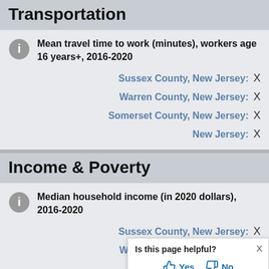Transportation
Mean travel time to work (minutes), workers age 16 years+, 2016-2020
Sussex County, New Jersey: X
Warren County, New Jersey: X
Somerset County, New Jersey: X
New Jersey: X
Income & Poverty
Median household income (in 2020 dollars), 2016-2020
Sussex County, New Jersey: X
Warren County, New Jersey: X
Somerset Cou... X